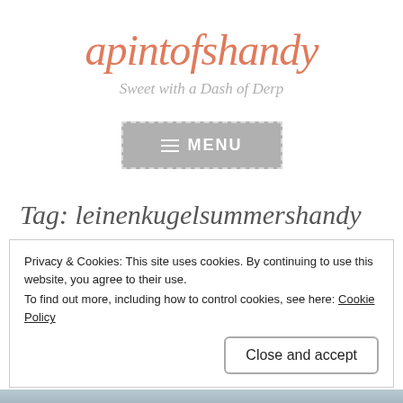apintofshandy
Sweet with a Dash of Derp
[Figure (other): Menu button with hamburger icon and text MENU on grey background with dashed border]
Tag: leinenkugelsummershandy
Privacy & Cookies: This site uses cookies. By continuing to use this website, you agree to their use.
To find out more, including how to control cookies, see here: Cookie Policy
[Figure (photo): Partial photo visible at bottom of page]